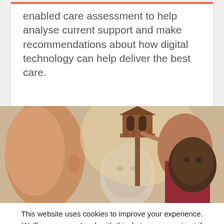enabled care assessment to help analyse current support and make recommendations about how digital technology can help deliver the best care.
[Figure (photo): Photo of several people gathered around a wooden birdhouse structure. One person in a maroon sports jersey is handling the birdhouse. Others are watching, including a bald man on the right and an older man in the center.]
This website uses cookies to improve your experience. We'll assume you're ok with this, but you can opt-out if you wish. Accept  Read More